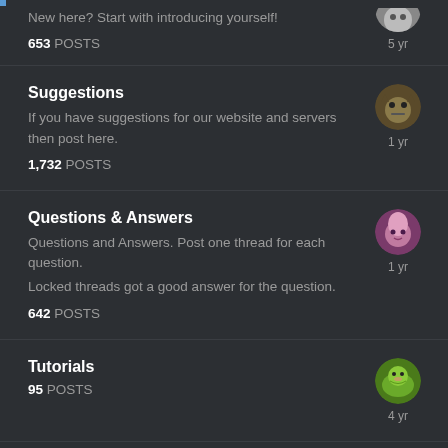New here? Start with introducing yourself!
653 POSTS
Suggestions
If you have suggestions for our website and servers then post here.
1,732 POSTS
Questions & Answers
Questions and Answers. Post one thread for each question.
Locked threads got a good answer for the question.
642 POSTS
Tutorials
95 POSTS
Gaming Discussion